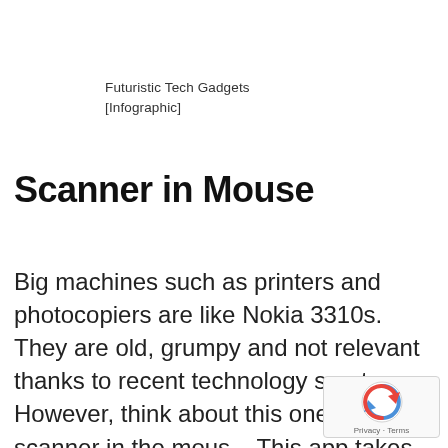Futuristic Tech Gadgets [Infographic]
Scanner in Mouse
Big machines such as printers and photocopiers are like Nokia 3310s. They are old, grumpy and not relevant thanks to recent technology spurts. However, think about this one – a scanner in the mouse. This app takes pictures and pretends to be scans. As long as it serves the